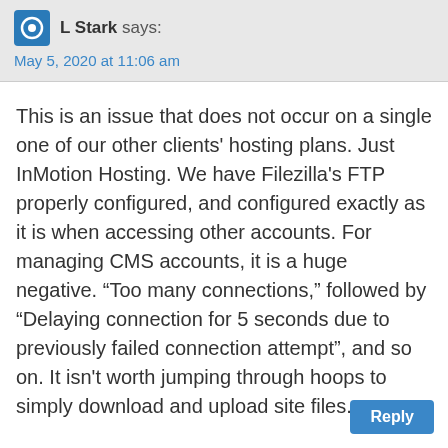L Stark says:
May 5, 2020 at 11:06 am
This is an issue that does not occur on a single one of our other clients' hosting plans. Just InMotion Hosting. We have Filezilla's FTP properly configured, and configured exactly as it is when accessing other accounts. For managing CMS accounts, it is a huge negative. “Too many connections,” followed by “Delaying connection for 5 seconds due to previously failed connection attempt”, and so on. It isn't worth jumping through hoops to simply download and upload site files.
Reply